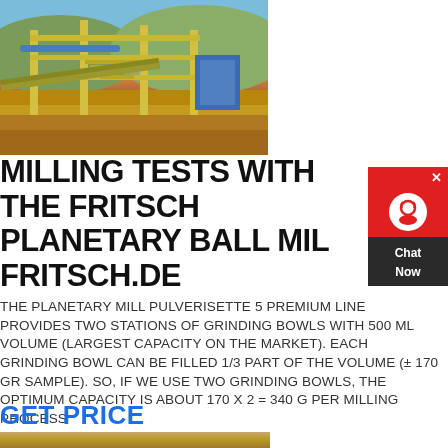[Figure (photo): Industrial mining/milling facility with yellow structural steel framework, conveyor systems, and equipment against a hillside background under blue sky]
MILLING TESTS WITH THE FRITSCH PLANETARY BALL MILL FRITSCH.DE
[Figure (other): Live chat widget with red background, white headset icon, and 'Chat Now' text on dark background]
THE PLANETARY MILL PULVERISETTE 5 PREMIUM LINE PROVIDES TWO STATIONS OF GRINDING BOWLS WITH 500 ML VOLUME (LARGEST CAPACITY ON THE MARKET). EACH GRINDING BOWL CAN BE FILLED 1/3 PART OF THE VOLUME (± 170 GR SAMPLE). SO, IF WE USE TWO GRINDING BOWLS, THE OPTIMUM CAPACITY IS ABOUT 170 X 2 = 340 G PER MILLING PROCESS
GET PRICE
[Figure (photo): Partial bottom strip showing outdoor/mining ground scene]